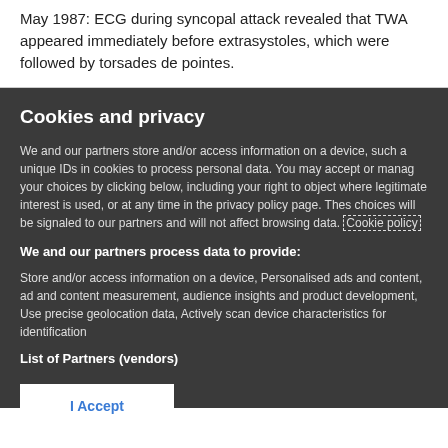May 1987: ECG during syncopal attack revealed that TWA appeared immediately before extrasystoles, which were followed by torsades de pointes.
Cookies and privacy
We and our partners store and/or access information on a device, such a unique IDs in cookies to process personal data. You may accept or manage your choices by clicking below, including your right to object where legitimate interest is used, or at any time in the privacy policy page. These choices will be signaled to our partners and will not affect browsing data. Cookie policy
We and our partners process data to provide:
Store and/or access information on a device, Personalised ads and content, ad and content measurement, audience insights and product development, Use precise geolocation data, Actively scan device characteristics for identification
List of Partners (vendors)
I Accept